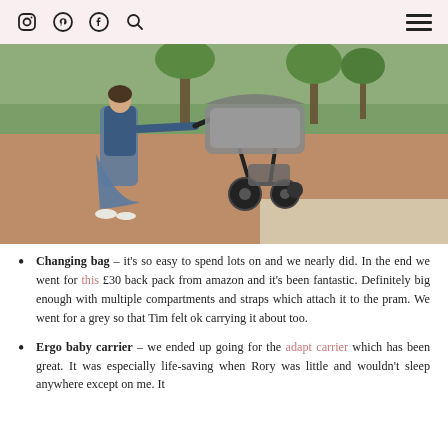Instagram Pinterest Facebook Search | Menu
[Figure (photo): Woman in blue dress and white shoes pushing a dark grey pram/buggy with carrycot attachment along a brick path outdoors. Green grass and trees visible in background.]
Changing bag – it's so easy to spend lots on and we nearly did. In the end we went for this £30 back pack from amazon and it's been fantastic. Definitely big enough with multiple compartments and straps which attach it to the pram. We went for a grey so that Tim felt ok carrying it about too.
Ergo baby carrier – we ended up going for the adapt carrier which has been great. It was especially life-saving when Rory was little and wouldn't sleep anywhere except on me. It